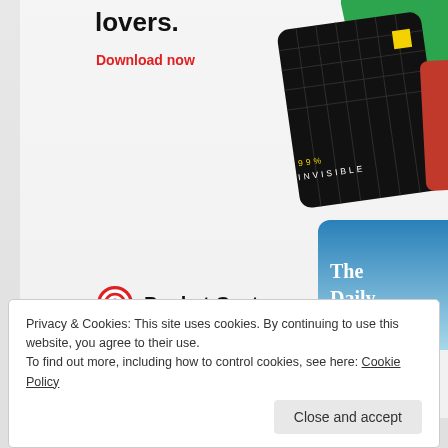[Figure (infographic): Pocket Casts podcast app advertisement showing 'lovers.' headline, 'Download now' in red, Pocket Casts logo, and podcast artwork cards including 99% Invisible and The Daily]
Share this:
Twitter
Facebook
156 Comments
Privacy & Cookies: This site uses cookies. By continuing to use this website, you agree to their use.
To find out more, including how to control cookies, see here: Cookie Policy
Close and accept